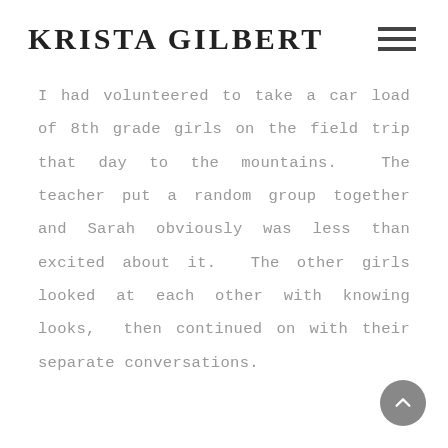KRISTA GILBERT
I had volunteered to take a car load of 8th grade girls on the field trip that day to the mountains. The teacher put a random group together and Sarah obviously was less than excited about it. The other girls looked at each other with knowing looks, then continued on with their separate conversations.